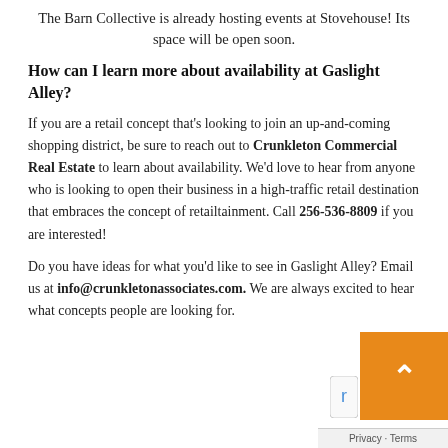The Barn Collective is already hosting events at Stovehouse! Its space will be open soon.
How can I learn more about availability at Gaslight Alley?
If you are a retail concept that's looking to join an up-and-coming shopping district, be sure to reach out to Crunkleton Commercial Real Estate to learn about availability. We'd love to hear from anyone who is looking to open their business in a high-traffic retail destination that embraces the concept of retailtainment. Call 256-536-8809 if you are interested!
Do you have ideas for what you'd like to see in Gaslight Alley? Email us at info@crunkletonassociates.com. We are always excited to hear what concepts people are looking for.